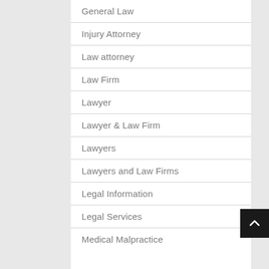General Law
Injury Attorney
Law attorney
Law Firm
Lawyer
Lawyer & Law Firm
Lawyers
Lawyers and Law Firms
Legal Information
Legal Services
Medical Malpractice